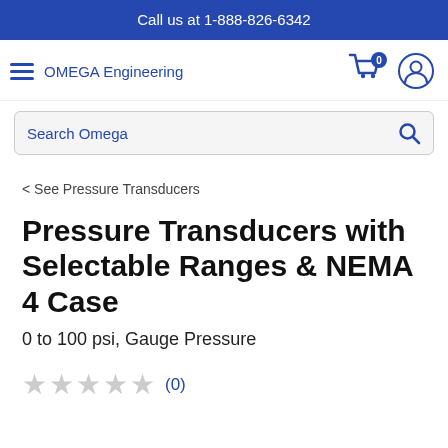Call us at 1-888-826-6342
[Figure (logo): OMEGA Engineering logo with hamburger menu, cart icon with 0 badge, and user account icon]
Search Omega
< See Pressure Transducers
Pressure Transducers with Selectable Ranges & NEMA 4 Case
0 to 100 psi, Gauge Pressure
★★★★★ (0)